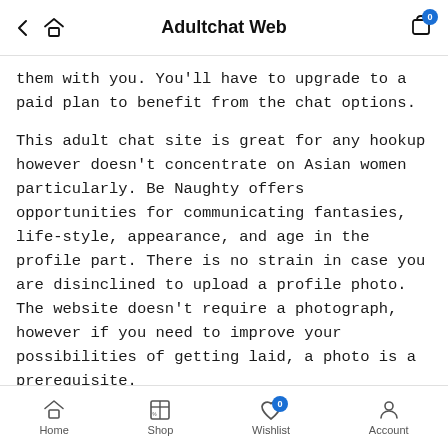Adultchat Web
them with you. You’ll have to upgrade to a paid plan to benefit from the chat options.
This adult chat site is great for any hookup however doesn’t concentrate on Asian women particularly. Be Naughty offers opportunities for communicating fantasies, life-style, appearance, and age in the profile part. There is no strain in case you are disinclined to upload a profile photo. The website doesn’t require a photograph, however if you need to improve your possibilities of getting laid, a photo is a prerequisite.
What Occurs In Adult Sex Chat Rooms?
Therefore, if you are lucky, maybe you shall be able to observe
Home  Shop  Wishlist  Account